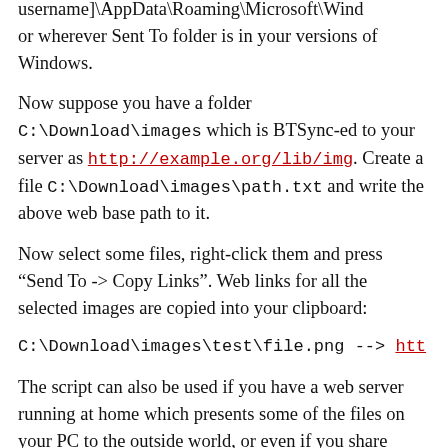username]\AppData\Roaming\Microsoft\Wind or wherever Sent To folder is in your versions of Windows.
Now suppose you have a folder C:\Download\images which is BTSync-ed to your server as http://example.org/lib/img. Create a file C:\Download\images\path.txt and write the above web base path to it.
Now select some files, right-click them and press “Send To -> Copy Links”. Web links for all the selected images are copied into your clipboard:
C:\Download\images\test\file.png --> htt
The script can also be used if you have a web server running at home which presents some of the files on your PC to the outside world, or even if you share some files